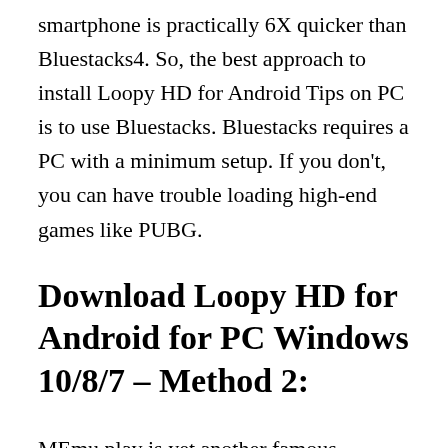smartphone is practically 6X quicker than Bluestacks4. So, the best approach to install Loopy HD for Android Tips on PC is to use Bluestacks. Bluestacks requires a PC with a minimum setup. If you don't, you can have trouble loading high-end games like PUBG.
Download Loopy HD for Android for PC Windows 10/8/7 – Method 2:
MEmu play is yet another famous Android emulator that has recently gained a lot of attention. It's very adaptable, quick, and